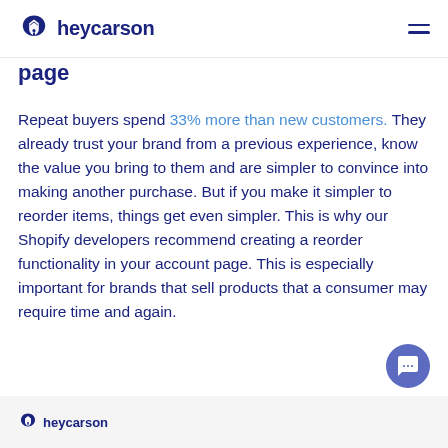heycarson
page
Repeat buyers spend 33% more than new customers. They already trust your brand from a previous experience, know the value you bring to them and are simpler to convince into making another purchase. But if you make it simpler to reorder items, things get even simpler. This is why our Shopify developers recommend creating a reorder functionality in your account page. This is especially important for brands that sell products that a consumer may require time and again.
heycarson